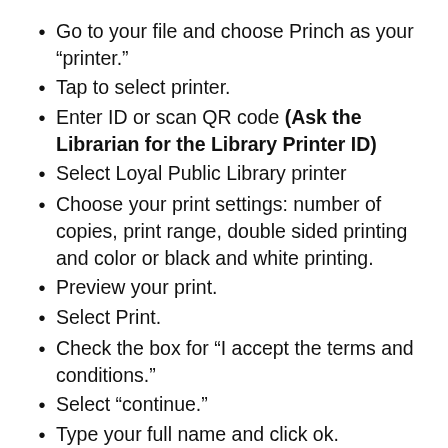Go to your file and choose Princh as your “printer.”
Tap to select printer.
Enter ID or scan QR code (Ask the Librarian for the Library Printer ID)
Select Loyal Public Library printer
Choose your print settings: number of copies, print range, double sided printing and color or black and white printing.
Preview your print.
Select Print.
Check the box for “I accept the terms and conditions.”
Select “continue.”
Type your full name and click ok.
Schedule a pick-up with one of our